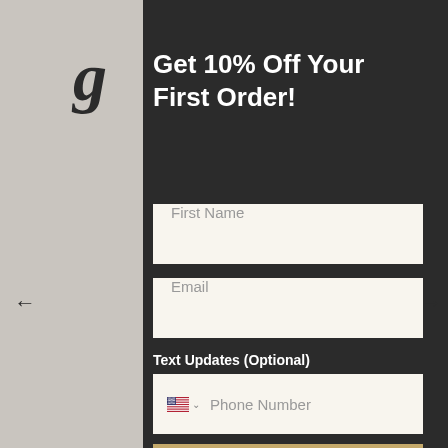[Figure (logo): Stylized italic lowercase 'g' in black serif font — Goldleaf brand logo]
[Figure (other): Hamburger menu icon (three horizontal black lines)]
Get 10% Off Your First Order!
First Name
Email
Text Updates (Optional)
Phone Number
GET YOUR DISCOUNT
By adding your phone number, you agree to receive marketing text messages from Goldleaf Ltd at the number provided. Consent is not a condition of purchase. Message and data rates may apply. Reply HELP for help or STOP to cancel. View our Privacy Policy and Terms of